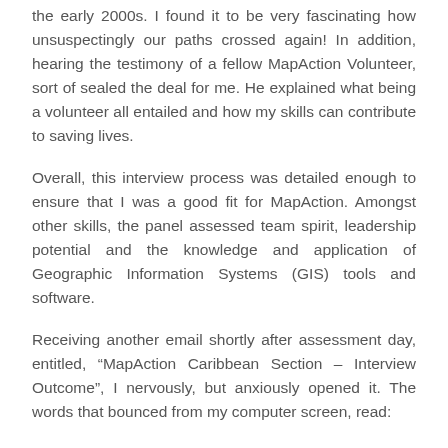the early 2000s. I found it to be very fascinating how unsuspectingly our paths crossed again! In addition, hearing the testimony of a fellow MapAction Volunteer, sort of sealed the deal for me. He explained what being a volunteer all entailed and how my skills can contribute to saving lives.
Overall, this interview process was detailed enough to ensure that I was a good fit for MapAction. Amongst other skills, the panel assessed team spirit, leadership potential and the knowledge and application of Geographic Information Systems (GIS) tools and software.
Receiving another email shortly after assessment day, entitled, “MapAction Caribbean Section – Interview Outcome”, I nervously, but anxiously opened it. The words that bounced from my computer screen, read:
Congratulations, you have been selected to join our